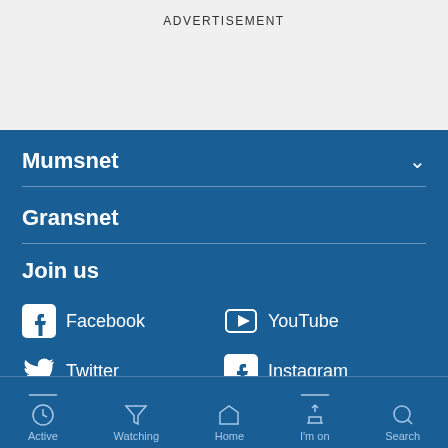ADVERTISEMENT
Mumsnet
Gransnet
Join us
Facebook
YouTube
Twitter
Instagram
Active  Watching  Home  I'm on  Search